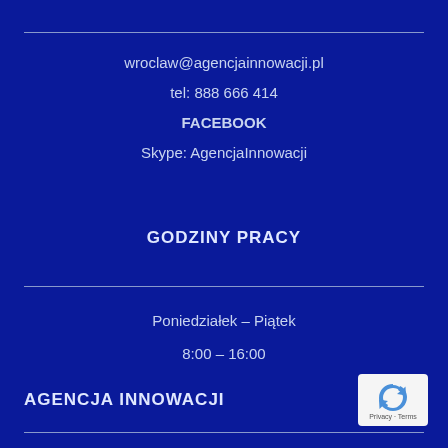wroclaw@agencjainnowacji.pl
tel: 888 666 414
FACEBOOK
Skype: AgencjaInnowacji
GODZINY PRACY
Poniedziałek – Piątek
8:00 – 16:00
AGENCJA INNOWACJI
[Figure (logo): reCAPTCHA logo badge with blue arrow icon and 'Privacy - Terms' text]